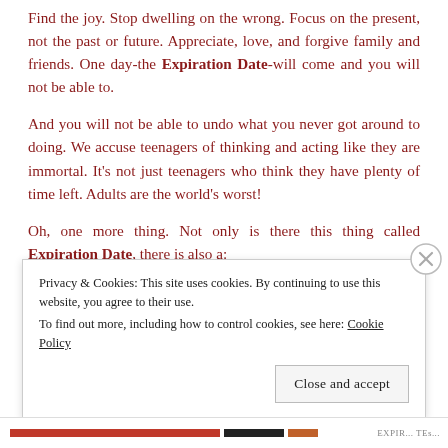Find the joy. Stop dwelling on the wrong. Focus on the present, not the past or future. Appreciate, love, and forgive family and friends. One day-the Expiration Date-will come and you will not be able to.
And you will not be able to undo what you never got around to doing. We accuse teenagers of thinking and acting like they are immortal. It’s not just teenagers who think they have plenty of time left. Adults are the world’s worst!
Oh, one more thing. Not only is there this thing called Expiration Date, there is also a:
Privacy & Cookies: This site uses cookies. By continuing to use this website, you agree to their use.
To find out more, including how to control cookies, see here: Cookie Policy
Close and accept